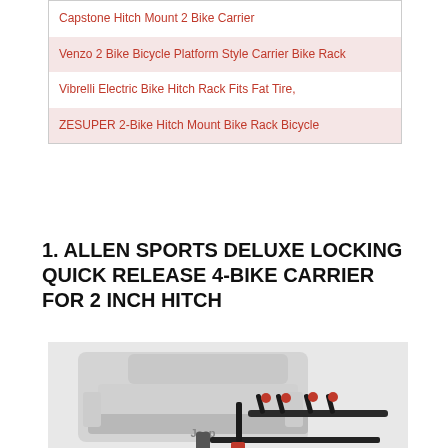Capstone Hitch Mount 2 Bike Carrier
Venzo 2 Bike Bicycle Platform Style Carrier Bike Rack
Vibrelli Electric Bike Hitch Rack Fits Fat Tire,
ZESUPER 2-Bike Hitch Mount Bike Rack Bicycle
1. ALLEN SPORTS DELUXE LOCKING QUICK RELEASE 4-BIKE CARRIER FOR 2 INCH HITCH
[Figure (photo): Photo of a hitch-mounted 4-bike carrier attached to the rear of a white Jeep vehicle, with black arms and red accents.]